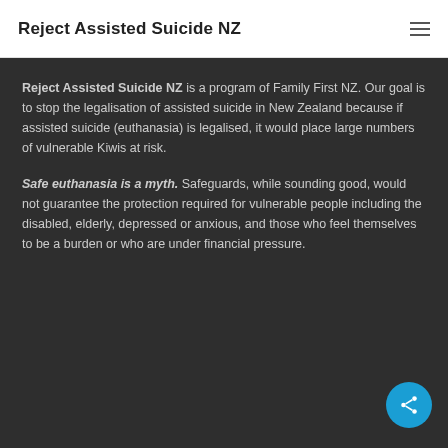Reject Assisted Suicide NZ
Reject Assisted Suicide NZ is a program of Family First NZ. Our goal is to stop the legalisation of assisted suicide in New Zealand because if assisted suicide (euthanasia) is legalised, it would place large numbers of vulnerable Kiwis at risk.
Safe euthanasia is a myth. Safeguards, while sounding good, would not guarantee the protection required for vulnerable people including the disabled, elderly, depressed or anxious, and those who feel themselves to be a burden or who are under financial pressure.
[Figure (other): Share button icon (circular teal button with share/network icon)]